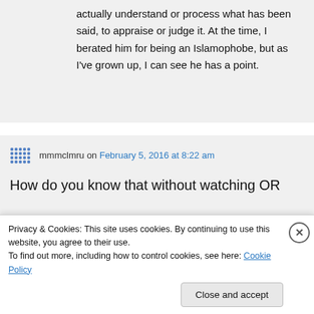actually understand or process what has been said, to appraise or judge it. At the time, I berated him for being an Islamophobe, but as I've grown up, I can see he has a point.
mmmclmru on February 5, 2016 at 8:22 am
How do you know that without watching OR
Privacy & Cookies: This site uses cookies. By continuing to use this website, you agree to their use.
To find out more, including how to control cookies, see here: Cookie Policy